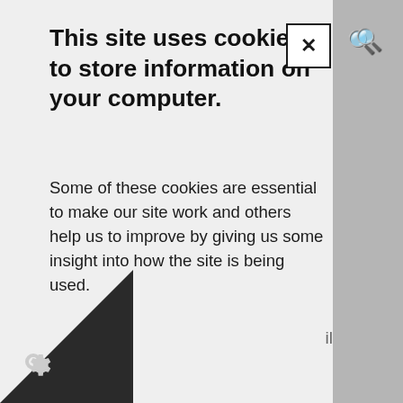This site uses cookies to store information on your computer.
Some of these cookies are essential to make our site work and others help us to improve by giving us some insight into how the site is being used.
For more detailed information, please check our Cookie and Privacy Statement ↗
I Accept
Necessary Cookies
sary cookies enable core functionality.